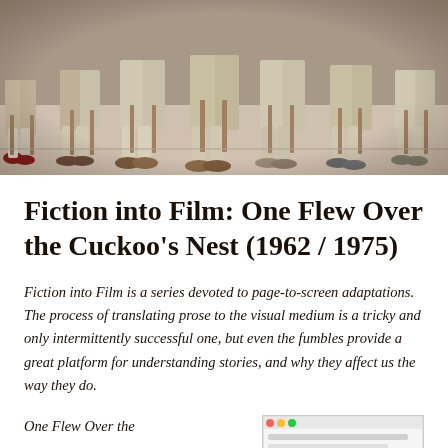[Figure (photo): Black and white or sepia-toned photograph showing multiple people (patients) seated in chairs, visible from waist/lap down, wearing light-colored clothing and various shoes/slippers, in what appears to be a psychiatric ward or institutional setting.]
Fiction into Film: One Flew Over the Cuckoo's Nest (1962 / 1975)
Fiction into Film is a series devoted to page-to-screen adaptations. The process of translating prose to the visual medium is a tricky and only intermittently successful one, but even the fumbles provide a great platform for understanding stories, and why they affect us the way they do.
One Flew Over the
[Figure (screenshot): Small thumbnail image, appears to be a screenshot of a webpage or book cover, shown partially at the bottom right of the page.]